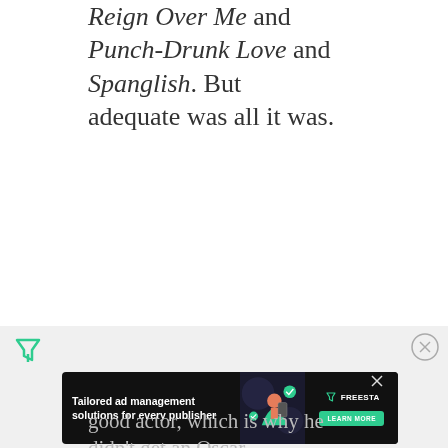Reign Over Me and Punch-Drunk Love and Spanglish. But adequate was all it was.
[Figure (other): Advertisement banner: Tailored ad management solutions for every publisher — Freestar. Learn More button. With decorative illustration of person with mobile device.]
good actor, which is why he didn't get an Oscar…